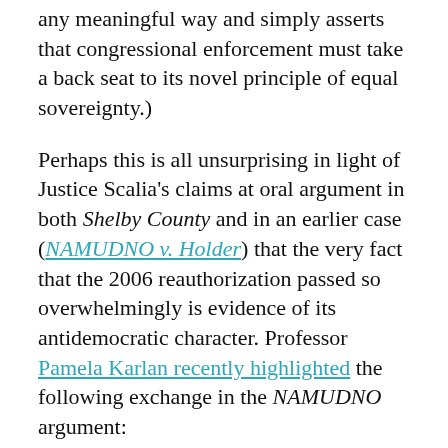any meaningful way and simply asserts that congressional enforcement must take a back seat to its novel principle of equal sovereignty.)
Perhaps this is all unsurprising in light of Justice Scalia's claims at oral argument in both Shelby County and in an earlier case (NAMUDNO v. Holder) that the very fact that the 2006 reauthorization passed so overwhelmingly is evidence of its antidemocratic character. Professor Pamela Karlan recently highlighted the following exchange in the NAMUDNO argument:
Justice Antonin Scalia: . . . What was the vote on this 2006 extension—98 to nothing in the Senate, and what was it in the House? W...